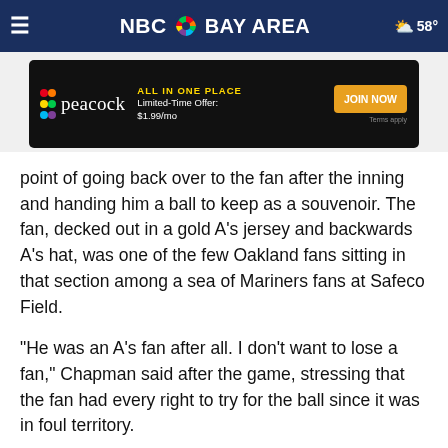NBC Bay Area — 58°
[Figure (screenshot): Peacock streaming service advertisement banner: ALL IN ONE PLACE, Limited-Time Offer: $1.99/mo, JOIN NOW, Terms apply]
point of going back over to the fan after the inning and handing him a ball to keep as a souvenior. The fan, decked out in a gold A's jersey and backwards A's hat, was one of the few Oakland fans sitting in that section among a sea of Mariners fans at Safeco Field.
"He was an A's fan after all. I don't want to lose a fan," Chapman said after the game, stressing that the fan had every right to try for the ball since it was in foul territory.
[Figure (other): Light blue/teal colored advertisement placeholder at the bottom of the page]